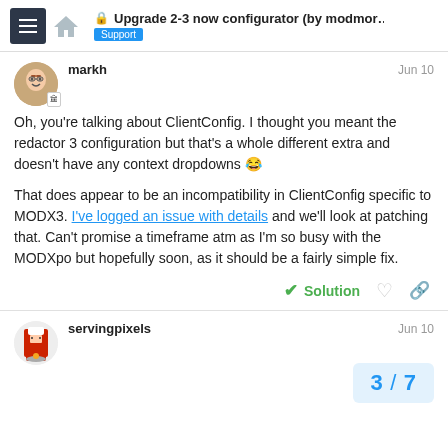Upgrade 2-3 now configurator (by modmor... | Support
markh · Jun 10
Oh, you're talking about ClientConfig. I thought you meant the redactor 3 configuration but that's a whole different extra and doesn't have any context dropdowns 😂

That does appear to be an incompatibility in ClientConfig specific to MODX3. I've logged an issue with details and we'll look at patching that. Can't promise a timeframe atm as I'm so busy with the MODXpo but hopefully soon, as it should be a fairly simple fix.
✓ Solution
servingpixels · Jun 10
3 / 7